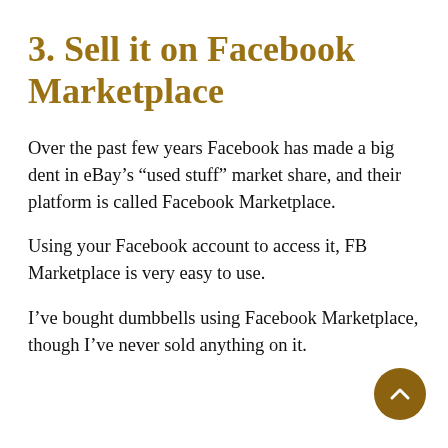3. Sell it on Facebook Marketplace
Over the past few years Facebook has made a big dent in eBay’s “used stuff” market share, and their platform is called Facebook Marketplace.
Using your Facebook account to access it, FB Marketplace is very easy to use.
I’ve bought dumbbells using Facebook Marketplace, though I’ve never sold anything on it.